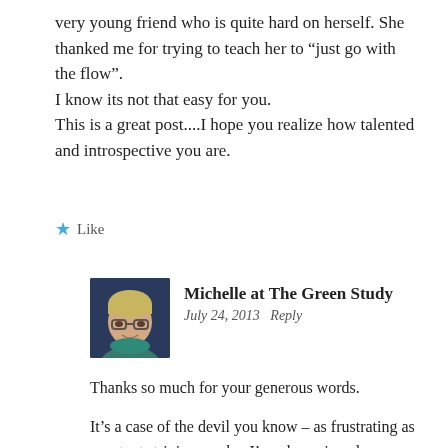very young friend who is quite hard on herself. She thanked me for trying to teach her to “just go with the flow”.
I know its not that easy for you.
This is a great post....I hope you realize how talented and introspective you are.
★ Like
[Figure (photo): Avatar photo of Michelle at The Green Study - woman with short blonde hair and glasses]
Michelle at The Green Study
July 24, 2013   Reply
Thanks so much for your generous words.
It’s a case of the devil you know – as frustrating as constant striving can be, I’ve also enjoyed some